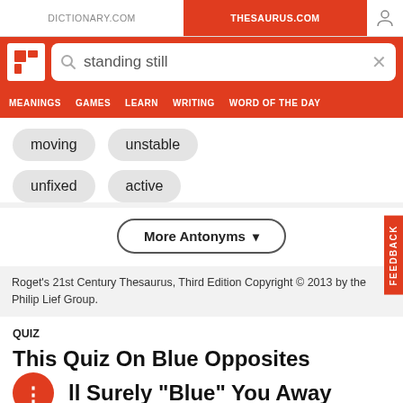DICTIONARY.COM | THESAURUS.COM
[Figure (screenshot): Thesaurus.com search bar with query 'standing still' and navigation menu with MEANINGS, GAMES, LEARN, WRITING, WORD OF THE DAY]
moving
unstable
unfixed
active
More Antonyms ▾
Roget's 21st Century Thesaurus, Third Edition Copyright © 2013 by the Philip Lief Group.
QUIZ
This Quiz On Blue Opposites Will Surely "Blue" You Away